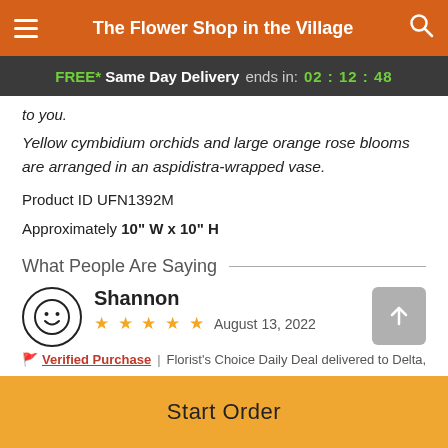The Flower Shop in the Village
FREE* Same Day Delivery ends in: 02:12:48
to you.
Yellow cymbidium orchids and large orange rose blooms are arranged in an aspidistra-wrapped vase.
Product ID UFN1392M
Approximately 10" W x 10" H
What People Are Saying
Shannon
★★★★★  August 13, 2022
Verified Purchase  |  Florist's Choice Daily Deal delivered to Delta, BC
Start Order